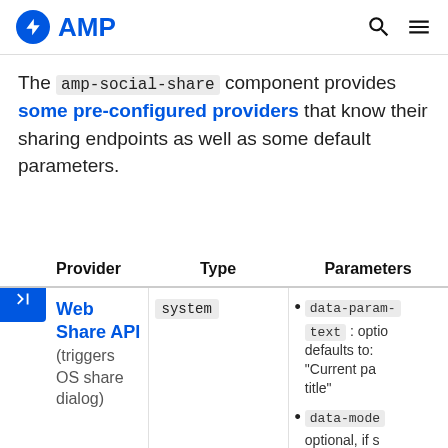AMP
The amp-social-share component provides some pre-configured providers that know their sharing endpoints as well as some default parameters.
| Provider | Type | Parameters |
| --- | --- | --- |
| Web Share API (triggers OS share dialog) | system | data-param-text : optional, defaults to: "Current page title"
data-mode: optional, if set to replace |